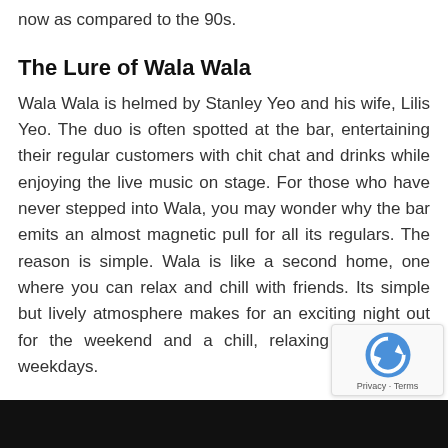now as compared to the 90s.
The Lure of Wala Wala
Wala Wala is helmed by Stanley Yeo and his wife, Lilis Yeo. The duo is often spotted at the bar, entertaining their regular customers with chit chat and drinks while enjoying the live music on stage. For those who have never stepped into Wala, you may wonder why the bar emits an almost magnetic pull for all its regulars. The reason is simple. Wala is like a second home, one where you can relax and chill with friends. Its simple but lively atmosphere makes for an exciting night out for the weekend and a chill, relaxing evening on weekdays.
[Figure (photo): Dark image strip at bottom of page, appears to be a photo of the bar interior]